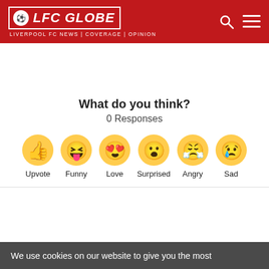LFC GLOBE | LIVERPOOL FC NEWS | COVERAGE | OPINION
What do you think?
0 Responses
[Figure (infographic): Six emoji reaction buttons: Upvote (thumbs up), Funny (laughing with tongue), Love (heart eyes), Surprised (open mouth), Angry (crying with rage), Sad (crying with tear). Labels beneath each emoji.]
We use cookies on our website to give you the most